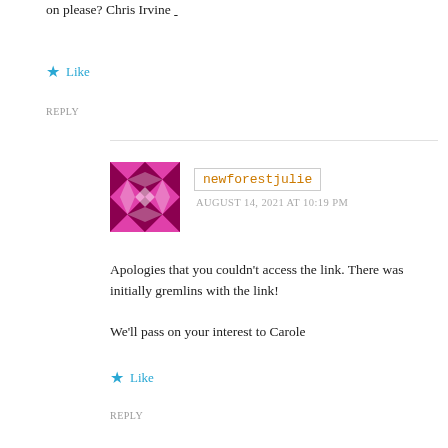on please? Chris Irvine ____________________________
★ Like
REPLY
newforestjulie
AUGUST 14, 2021 AT 10:19 PM
Apologies that you couldn't access the link. There was initially gremlins with the link!
We'll pass on your interest to Carole
★ Like
REPLY